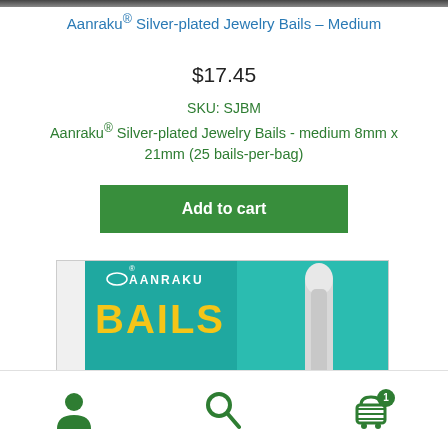[Figure (photo): Top cropped product image strip (dark, partially visible)]
Aanraku® Silver-plated Jewelry Bails – Medium
$17.45
SKU: SJBM
Aanraku® Silver-plated Jewelry Bails - medium 8mm x 21mm (25 bails-per-bag)
Add to cart
[Figure (photo): Product packaging photo showing Aanraku Bails Nickel-Finish box with teal/green background and bail hardware visible on right]
Navigation footer with person/account icon, search icon, and shopping cart icon with badge showing 1 item